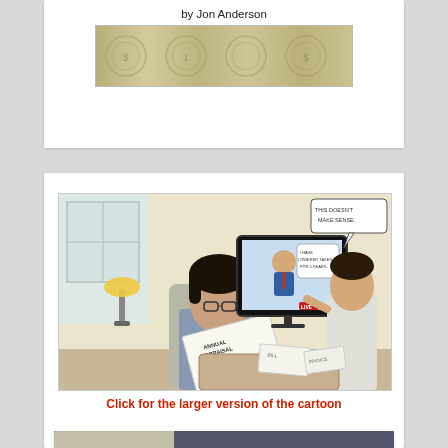[Figure (illustration): Top card with 'by Jon Anderson' text and a banner image with dollar bill / currency pattern]
[Figure (illustration): Cartoon showing a man reading an Annual Appraisal Notice while watching a TV showing a politician saying 'I have lowered taxes for 5 years' with a woman in background saying 'This doesn't make sense.' Bills on the table.]
Click for the larger version of the cartoon
[Figure (screenshot): Video thumbnail for 'The Hidden Property Tax' with cartoon imagery and accessibility icon]